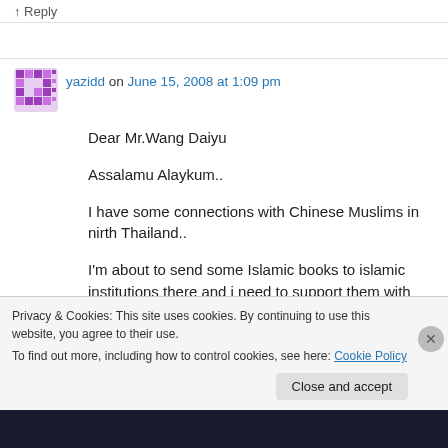↑ Reply
yazidd on June 15, 2008 at 1:09 pm
Dear Mr.Wang Daiyu

Assalamu Alaykum..

I have some connections with Chinese Muslims in nirth Thailand..

I'm about to send some Islamic books to islamic institutions there and i need to support them with refrences ti some Chinese islamic websites..

So I'll be grateful if you're able to supply me with
Privacy & Cookies: This site uses cookies. By continuing to use this website, you agree to their use.
To find out more, including how to control cookies, see here: Cookie Policy
Close and accept